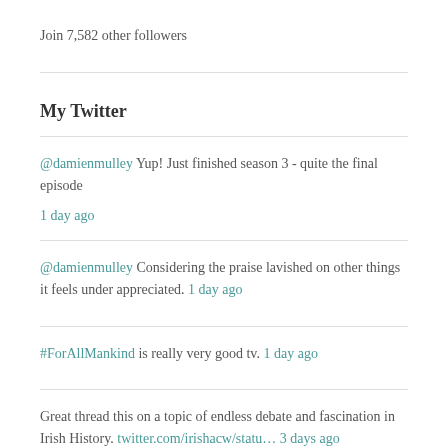Join 7,582 other followers
My Twitter
@damienmulley Yup! Just finished season 3 - quite the final episode 1 day ago
@damienmulley Considering the praise lavished on other things it feels under appreciated. 1 day ago
#ForAllMankind is really very good tv. 1 day ago
Great thread this on a topic of endless debate and fascination in Irish History. twitter.com/irishacw/statu… 3 days ago
RT @OWNITLDN: ❗ COMPETITION ALERT ❗ OWN IT! &